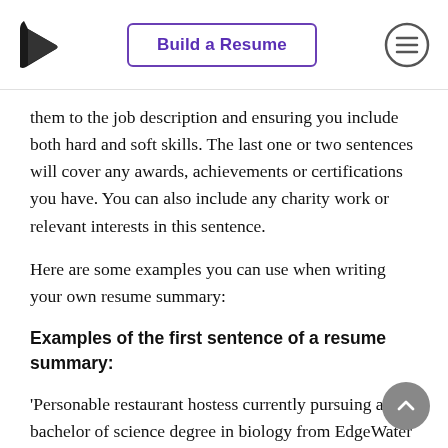Build a Resume
them to the job description and ensuring you include both hard and soft skills. The last one or two sentences will cover any awards, achievements or certifications you have. You can also include any charity work or relevant interests in this sentence.
Here are some examples you can use when writing your own resume summary:
Examples of the first sentence of a resume summary:
‘Personable restaurant hostess currently pursuing a bachelor of science degree in biology from EdgeWater University.’
‘Passionate entry-level cashier possessing an associate of arts degree from EdgeWater Community College.’